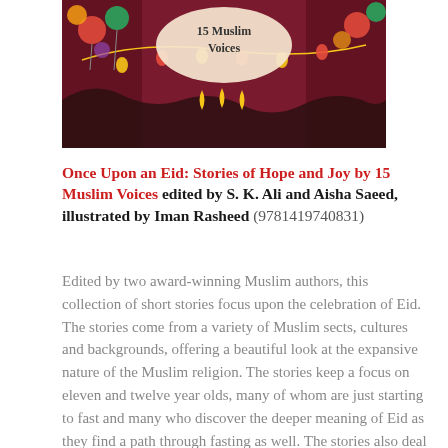[Figure (illustration): Book cover illustration for 'Once Upon an Eid: Stories of Hope and Joy by 15 Muslim Voices' showing a festive scene with balloons, lights, and decorations in rich reds and purples, with the title text in a light oval in the center.]
Once Upon an Eid: Stories of Hope and Joy by 15 Muslim Voices edited by S. K. Ali and Aisha Saeed, illustrated by Iman Rasheed (9781419740831)
Edited by two award-winning Muslim authors, this collection of short stories focus upon the celebration of Eid. The stories come from a variety of Muslim sects, cultures and backgrounds, offering a beautiful look at the expansive nature of the Muslim religion. The stories keep a focus on eleven and twelve year olds, many of whom are just starting to fast and many who discover the deeper meaning of Eid as they find a path through fasting as well. The stories also deal with the various personal and religious...